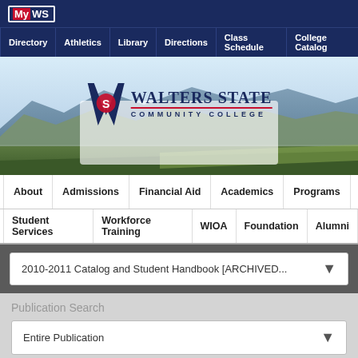My WS
Directory | Athletics | Library | Directions | Class Schedule | College Catalog
[Figure (logo): Walters State Community College logo with blue W and red S icon, mountains background]
About | Admissions | Financial Aid | Academics | Programs
Student Services | Workforce Training | WIOA | Foundation | Alumni
2010-2011 Catalog and Student Handbook [ARCHIVED...
Publication Search
Entire Publication
Search Publication